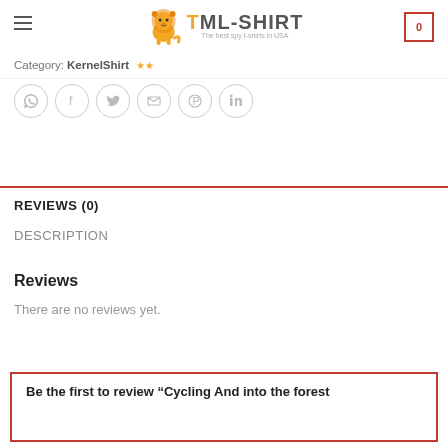TML-SHIRT — The best spy t-shirts in USA
Category: KernelShirt
[Figure (other): Social sharing icons: WhatsApp, Facebook, Twitter, Email, Pinterest, LinkedIn]
REVIEWS (0)
DESCRIPTION
Reviews
There are no reviews yet.
Be the first to review "Cycling And into the forest